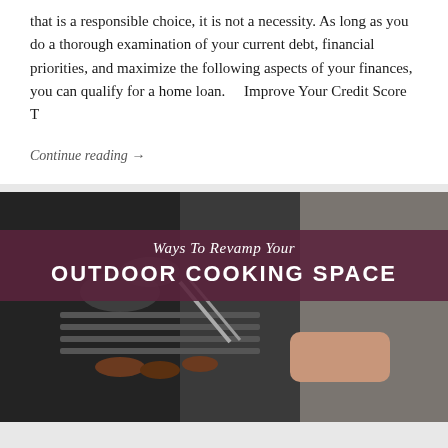that is a responsible choice, it is not a necessity. As long as you do a thorough examination of your current debt, financial priorities, and maximize the following aspects of your finances, you can qualify for a home loan.    Improve Your Credit Score  T
Continue reading →
[Figure (photo): Photo of a person cooking on an outdoor grill with tongs, with a dark overlay banner reading 'Ways To Revamp Your OUTDOOR COOKING SPACE']